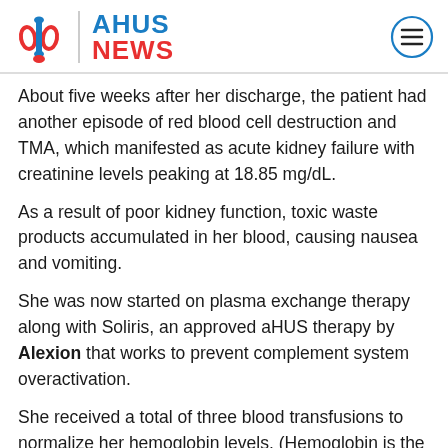[Figure (logo): AHUS News logo with kidney icon and menu button]
About five weeks after her discharge, the patient had another episode of red blood cell destruction and TMA, which manifested as acute kidney failure with creatinine levels peaking at 18.85 mg/dL.
As a result of poor kidney function, toxic waste products accumulated in her blood, causing nausea and vomiting.
She was now started on plasma exchange therapy along with Soliris, an approved aHUS therapy by Alexion that works to prevent complement system overactivation.
She received a total of three blood transfusions to normalize her hemoglobin levels. (Hemoglobin is the protein in red blood cells that is responsible for oxygen transport.)